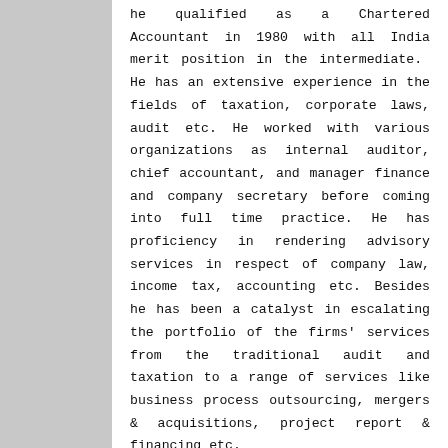he qualified as a Chartered Accountant in 1980 with all India merit position in the intermediate. He has an extensive experience in the fields of taxation, corporate laws, audit etc. He worked with various organizations as internal auditor, chief accountant, and manager finance and company secretary before coming into full time practice. He has proficiency in rendering advisory services in respect of company law, income tax, accounting etc. Besides he has been a catalyst in escalating the portfolio of the firms' services from the traditional audit and taxation to a range of services like business process outsourcing, mergers & acquisitions, project report & financing etc.